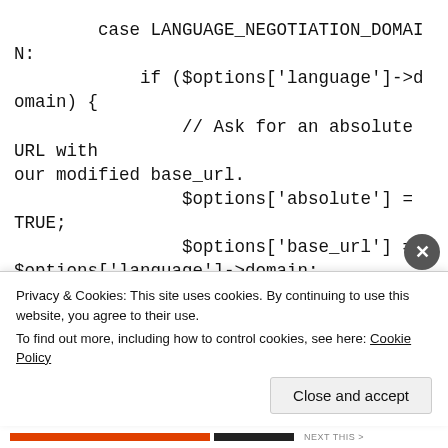case LANGUAGE_NEGOTIATION_DOMAIN:
            if ($options['language']->domain) {
                // Ask for an absolute URL with our modified base_url.
                $options['absolute'] = TRUE;
                $options['base_url'] =
$options['language']->domain;
        }
        break;


        case LANGUAGE_NEGOTIATION_PATH_DEFAULT:
            /* Comment the following codes to
Privacy & Cookies: This site uses cookies. By continuing to use this website, you agree to their use.
To find out more, including how to control cookies, see here: Cookie Policy
Close and accept